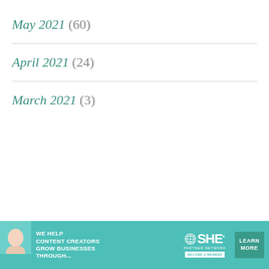May 2021 (60)
April 2021 (24)
March 2021 (3)
[Figure (infographic): Advertisement banner for SHE Media Partner Network. Teal background with woman photo, headline 'We help content creators grow businesses through...', SHE logo, 'Partner Network', 'Become a Member' tag, and 'Learn More' button.]